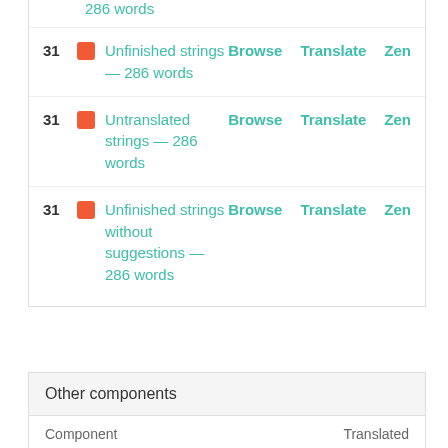286 words
31 Unfinished strings — 286 words Browse Translate Zen
31 Untranslated strings — 286 words Browse Translate Zen
31 Unfinished strings without suggestions — 286 words Browse Translate Zen
Other components
| Component | Translated |
| --- | --- |